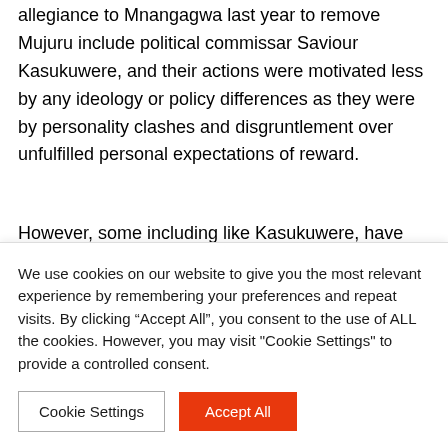allegiance to Mnangagwa last year to remove Mujuru include political commissar Saviour Kasukuwere, and their actions were motivated less by any ideology or policy differences as they were by personality clashes and disgruntlement over unfulfilled personal expectations of reward.
However, some including like Kasukuwere, have since dumped Mnangagwa and are coalescing around a G40 group of Young Turks like another erstwhile Mnangagwa ally, Jonathan Moyo, who enjoy the support of the First
We use cookies on our website to give you the most relevant experience by remembering your preferences and repeat visits. By clicking “Accept All”, you consent to the use of ALL the cookies. However, you may visit "Cookie Settings" to provide a controlled consent.